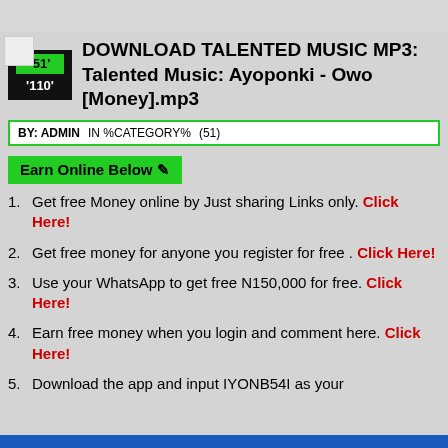[Figure (other): Small image icon in top left corner]
DOWNLOAD TALENTED MUSIC MP3: Talented Music: Ayoponki - Owo [Money].mp3
BY: ADMIN   IN %CATEGORY%   (51)
Earn Online Below ✎
Get free Money online by Just sharing Links only. Click Here!
Get free money for anyone you register for free . Click Here!
Use your WhatsApp to get free N150,000 for free. Click Here!
Earn free money when you login and comment here. Click Here!
Download the app and input IYONB54I as your referral code / account
Download Now